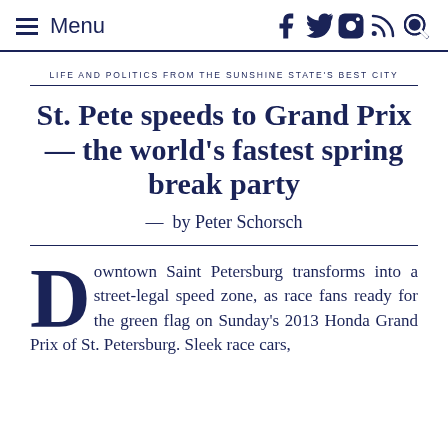Menu [social icons: Facebook, Twitter, Instagram, RSS, Search]
LIFE AND POLITICS FROM THE SUNSHINE STATE'S BEST CITY
St. Pete speeds to Grand Prix — the world's fastest spring break party
— by Peter Schorsch
Downtown Saint Petersburg transforms into a street-legal speed zone, as race fans ready for the green flag on Sunday's 2013 Honda Grand Prix of St. Petersburg. Sleek race cars,